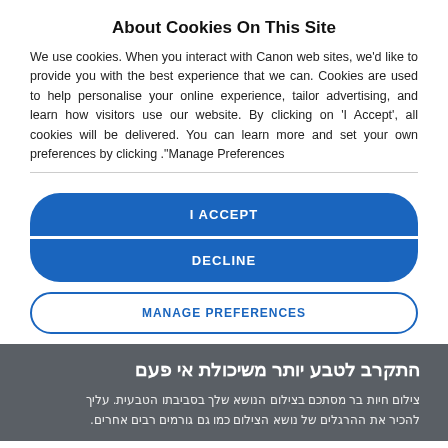About Cookies On This Site
We use cookies. When you interact with Canon web sites, we'd like to provide you with the best experience that we can. Cookies are used to help personalise your online experience, tailor advertising, and learn how visitors use our website. By clicking on 'I Accept', all cookies will be delivered. You can learn more and set your own preferences by clicking .''Manage Preferences
I ACCEPT
DECLINE
MANAGE PREFERENCES
התקרב לטבע יותר משיכולת אי פעם
צילום חיות בר מסתכם בצילום הנושא שלך בסביבתו הטבעית. עליך להכיר את ההרגלים של נושא הצילום כמו גם גורמים רבים אחרים.